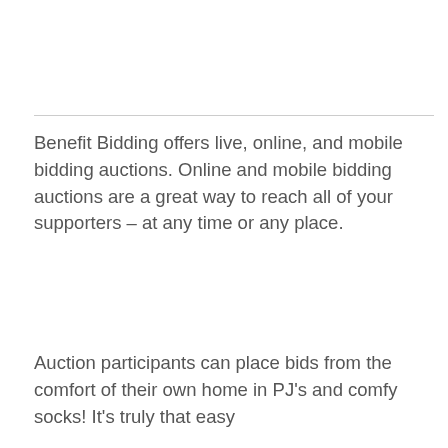Benefit Bidding offers live, online, and mobile bidding auctions. Online and mobile bidding auctions are a great way to reach all of your supporters – at any time or any place.
Auction participants can place bids from the comfort of their own home in PJ's and comfy socks! It's truly that easy